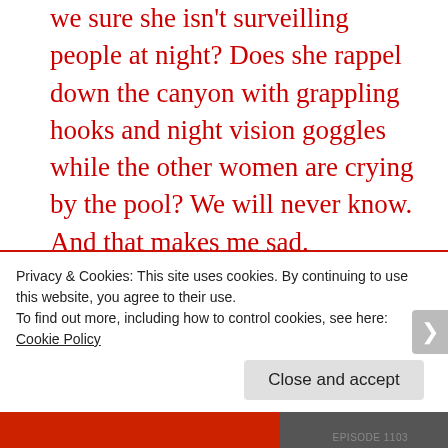we sure she isn't surveilling people at night? Does she rappel down the canyon with grappling hooks and night vision goggles while the other women are crying by the pool? We will never know. And that makes me sad.
Well, that was fun, and if you watched what's left to come this season you know it doesn't stop here! If you know people who aren't
Privacy & Cookies: This site uses cookies. By continuing to use this website, you agree to their use.
To find out more, including how to control cookies, see here: Cookie Policy
Close and accept